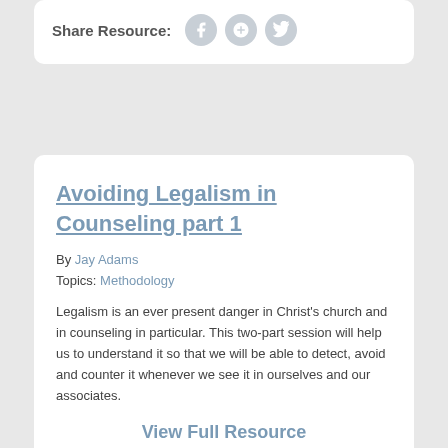Share Resource:
Avoiding Legalism in Counseling part 1
By Jay Adams
Topics: Methodology
Legalism is an ever present danger in Christ's church and in counseling in particular. This two-part session will help us to understand it so that we will be able to detect, avoid and counter it whenever we see it in ourselves and our associates.
View Full Resource